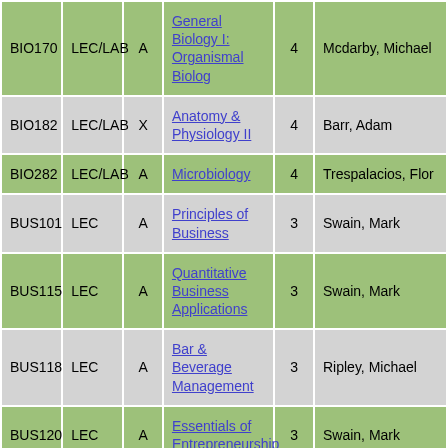| Course | Type | Sec | Title | Credits | Instructor |
| --- | --- | --- | --- | --- | --- |
| BIO170 | LEC/LAB | A | General Biology I: Organismal Biolog | 4 | Mcdarby, Michael |
| BIO182 | LEC/LAB | X | Anatomy & Physiology II | 4 | Barr, Adam |
| BIO282 | LEC/LAB | A | Microbiology | 4 | Trespalacios, Flor |
| BUS101 | LEC | A | Principles of Business | 3 | Swain, Mark |
| BUS115 | LEC | A | Quantitative Business Applications | 3 | Swain, Mark |
| BUS118 | LEC | A | Bar & Beverage Management | 3 | Ripley, Michael |
| BUS120 | LEC | A | Essentials of Entrepreneurship | 3 | Swain, Mark |
| BUS133 | LEC | A | Introduction to Keyboarding | 1 | Dybas, Charlene |